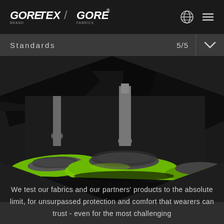GORE-TEX / GORE BRAND / FABRICS
Standards 5/5
[Figure (photo): Close-up photograph of green circular testing discs/pucks mounted on mechanical test equipment against a dark background, used for fabric abrasion/durability testing. The equipment is shown in a hexagonal/diamond-shaped frame.]
We test our fabrics and our partners' products to the absolute limit, for unsurpassed protection and comfort that wearers can trust - even for the most challenging